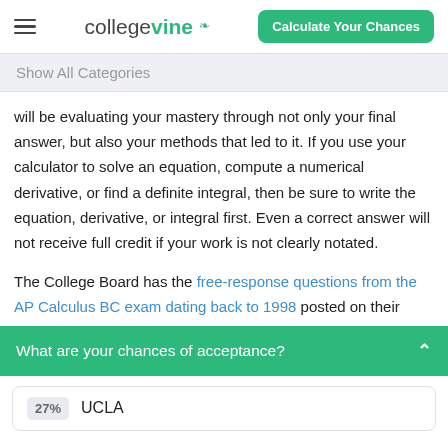collegevine | Calculate Your Chances
Show All Categories
will be evaluating your mastery through not only your final answer, but also your methods that led to it. If you use your calculator to solve an equation, compute a numerical derivative, or find a definite integral, then be sure to write the equation, derivative, or integral first. Even a correct answer will not receive full credit if your work is not clearly notated.

The College Board has the free-response questions from the AP Calculus BC exam dating back to 1998 posted on their
What are your chances of acceptance?
27% UCLA